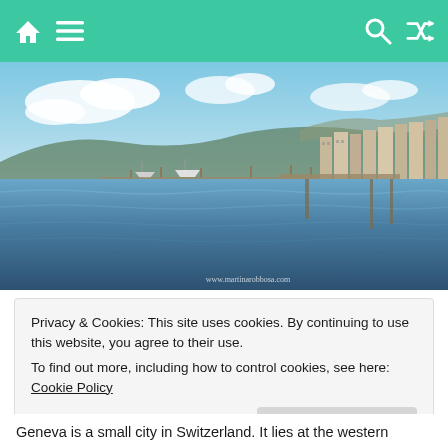Navigation bar with home, menu, search, and shuffle icons
[Figure (photo): A scenic waterfront view of Geneva, Switzerland, showing Lake Geneva with boats moored along the shore, the city buildings on the right, hills and mountains in the background under a partly cloudy sky. Watermark: www.martinarobbosa.com]
Privacy & Cookies: This site uses cookies. By continuing to use this website, you agree to their use.
To find out more, including how to control cookies, see here: Cookie Policy
Close and accept
Geneva is a small city in Switzerland. It lies at the western